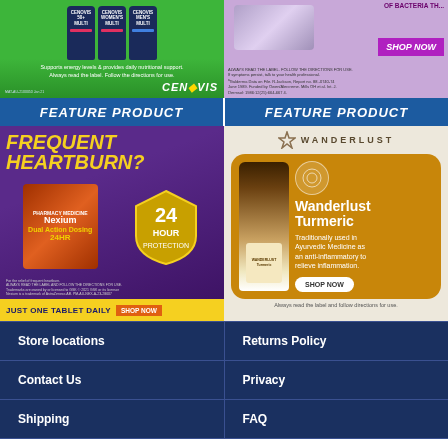[Figure (illustration): Cenovis 50+ Multi, Women's Multi, Men's Multi vitamin bottles on green background with tagline and logo]
[Figure (illustration): Purple bacteria-themed ad with Shop Now button and fine print about directions for use]
FEATURE PRODUCT
FEATURE PRODUCT
[Figure (illustration): Nexium 24HR heartburn relief ad on purple background, Just One Tablet Daily, Shop Now button]
[Figure (illustration): Wanderlust Turmeric product ad on cream/gold background, traditionally used in Ayurvedic Medicine, Shop Now]
Store locations
Returns Policy
Contact Us
Privacy
Shipping
FAQ